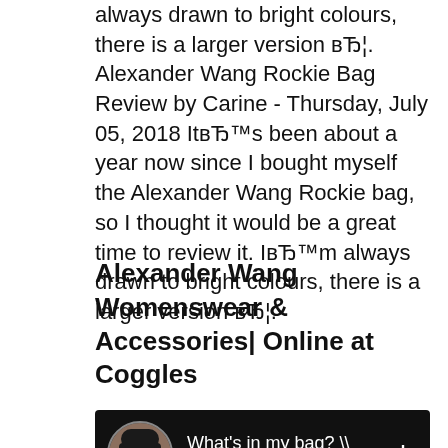always drawn to bright colours, there is a larger version вЂ¦. Alexander Wang Rockie Bag Review by Carine - Thursday, July 05, 2018 ItвЂ™s been about a year now since I bought myself the Alexander Wang Rockie bag, so I thought it would be a great time to review it. IвЂ™m always drawn to bright colours, there is a larger version вЂ¦.
Alexander Wang Womenswear & Accessories| Online at Coggles
[Figure (screenshot): YouTube video thumbnail showing a person and text 'What's in my bag? \\ Alexa...' with a three-dot menu icon on dark background]